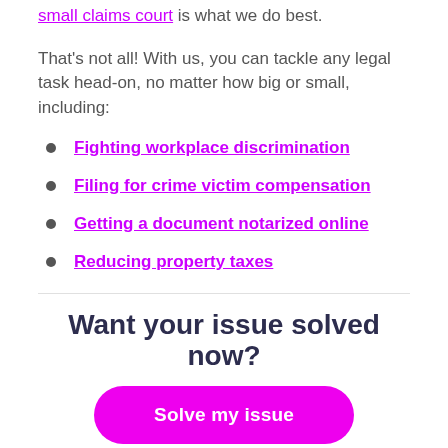small claims court is what we do best.
That's not all! With us, you can tackle any legal task head-on, no matter how big or small, including:
Fighting workplace discrimination
Filing for crime victim compensation
Getting a document notarized online
Reducing property taxes
Want your issue solved now?
Solve my issue